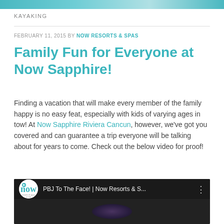[Figure (photo): Top cropped image banner in teal/blue tones]
KAYAKING
FEBRUARY 11, 2015 BY NOW RESORTS & SPAS
Family Fun for Everyone at Now Sapphire!
Finding a vacation that will make every member of the family happy is no easy feat, especially with kids of varying ages in tow! At Now Sapphire Riviera Cancun, however, we've got you covered and can guarantee a trip everyone will be talking about for years to come. Check out the below video for proof!
[Figure (screenshot): YouTube video embed showing 'PBJ To The Face! | Now Resorts & S...' with Now Resorts & Spas channel logo]